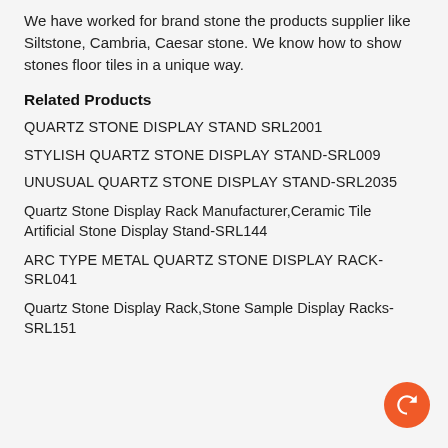We have worked for brand stone the products supplier like Siltstone, Cambria, Caesar stone. We know how to show stones floor tiles in a unique way.
Related Products
QUARTZ STONE DISPLAY STAND SRL2001
STYLISH QUARTZ STONE DISPLAY STAND-SRL009
UNUSUAL QUARTZ STONE DISPLAY STAND-SRL2035
Quartz Stone Display Rack Manufacturer,Ceramic Tile Artificial Stone Display Stand-SRL144
ARC TYPE METAL QUARTZ STONE DISPLAY RACK-SRL041
Quartz Stone Display Rack,Stone Sample Display Racks-SRL151